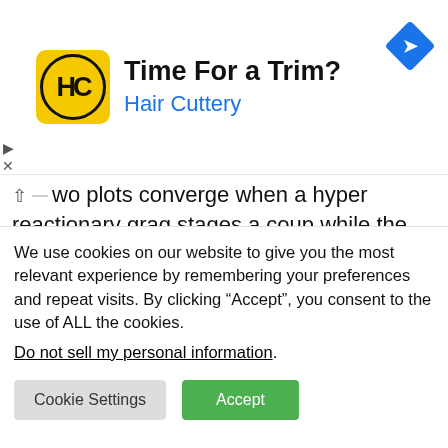[Figure (infographic): Hair Cuttery advertisement banner with yellow HC logo, 'Time For a Trim?' headline, 'Hair Cuttery' subline in blue, and blue diamond navigation arrow icon on the right.]
two plots converge when a hyper reactionary grag stages a coup while the Low King of the Dwarfs (actually the low Queen of the dwarfs, but more on that later) is in Ankh-Morpork. Thus, the only way for her to get back to her capital quickly enough is to build a railway to Uberwald. And so the game is on.
We use cookies on our website to give you the most relevant experience by remembering your preferences and repeat visits. By clicking “Accept”, you consent to the use of ALL the cookies.
Do not sell my personal information.